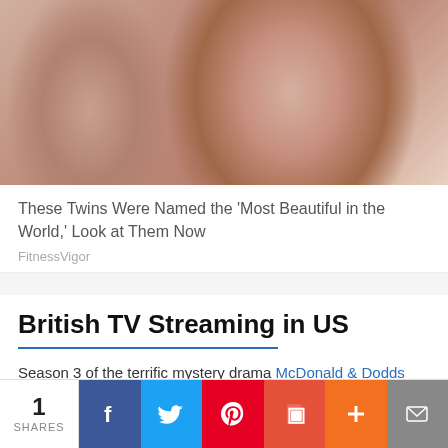[Figure (photo): Close-up photo of two young women (twins) showing their faces and hair, cropped at top of page]
These Twins Were Named the 'Most Beautiful in the World,' Look at Them Now
FitnessVigor
British TV Streaming in US
Season 3 of the terrific mystery drama McDonald & Dodds has premiered in the US.
[Figure (photo): Photo of two people standing together, partial view cropped at bottom of page]
1 SHARES | Facebook | Twitter | Pinterest | Flipboard | Plus | Email